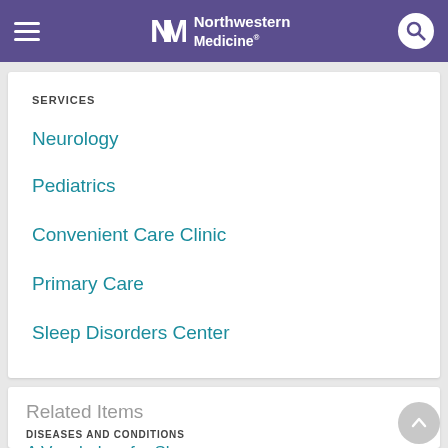Northwestern Medicine
SERVICES
Neurology
Pediatrics
Convenient Care Clinic
Primary Care
Sleep Disorders Center
Related Items
DISEASES AND CONDITIONS
A Vocabulary for Sleep